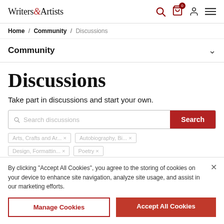Writers & Artists
Home / Community / Discussions
Community
Discussions
Take part in discussions and start your own.
Search discussions [Search button]
Arts, Crafts and Ar...  ×    Autobiography, Bi...  ×
Design, Formattin...  ×    Poetry  ×
Publicity and Mark...  ×    Understanding Self...  ×
By clicking "Accept All Cookies", you agree to the storing of cookies on your device to enhance site navigation, analyze site usage, and assist in our marketing efforts.
Manage Cookies
Accept All Cookies